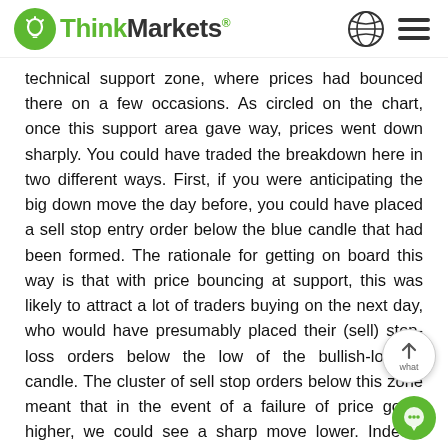ThinkMarkets
technical support zone, where prices had bounced there on a few occasions. As circled on the chart, once this support area gave way, prices went down sharply. You could have traded the breakdown here in two different ways. First, if you were anticipating the big down move the day before, you could have placed a sell stop entry order below the blue candle that had been formed. The rationale for getting on board this way is that with price bouncing at support, this was likely to attract a lot of traders buying on the next day, who would have presumably placed their (sell) stop-loss orders below the low of the bullish-looking candle. The cluster of sell stop orders below this zone meant that in the event of a failure of price going higher, we could see a sharp move lower. Indeed, that's exactly what happened as those sell stop orders were tripped, triggering follow-up technical selling. Alternatively, you could have waited for price to break below support...